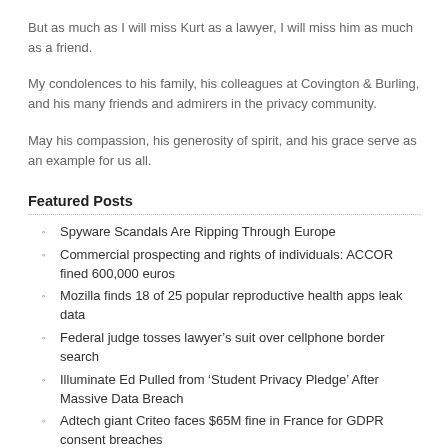But as much as I will miss Kurt as a lawyer, I will miss him as much as a friend.
My condolences to his family, his colleagues at Covington & Burling, and his many friends and admirers in the privacy community.
May his compassion, his generosity of spirit, and his grace serve as an example for us all.
Featured Posts
Spyware Scandals Are Ripping Through Europe
Commercial prospecting and rights of individuals: ACCOR fined 600,000 euros
Mozilla finds 18 of 25 popular reproductive health apps leak data
Federal judge tosses lawyer’s suit over cellphone border search
Illuminate Ed Pulled from ‘Student Privacy Pledge’ After Massive Data Breach
Adtech giant Criteo faces $65M fine in France for GDPR consent breaches